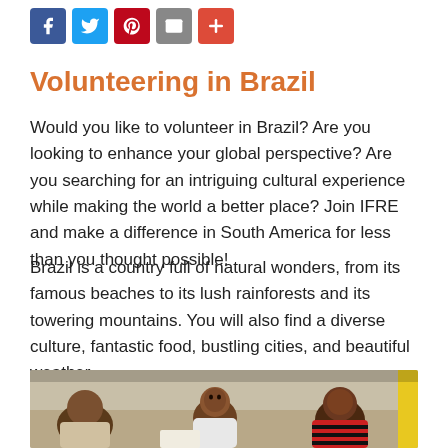[Figure (other): Social media share buttons: Facebook (blue), Twitter (light blue), Pinterest (red), Email (grey), Google+ (red-orange)]
Volunteering in Brazil
Would you like to volunteer in Brazil? Are you looking to enhance your global perspective? Are you searching for an intriguing cultural experience while making the world a better place? Join IFRE and make a difference in South America for less than you thought possible!
Brazil is a country full of natural wonders, from its famous beaches to its lush rainforests and its towering mountains. You will also find a diverse culture, fantastic food, bustling cities, and beautiful weather.
[Figure (photo): Children lying on the floor, apparently studying or doing schoolwork. One child looks up at the camera wearing a white shirt, another wears a red and black striped shirt.]